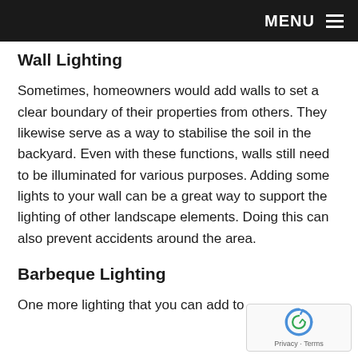MENU
Wall Lighting
Sometimes, homeowners would add walls to set a clear boundary of their properties from others. They likewise serve as a way to stabilise the soil in the backyard. Even with these functions, walls still need to be illuminated for various purposes. Adding some lights to your wall can be a great way to support the lighting of other landscape elements. Doing this can also prevent accidents around the area.
Barbeque Lighting
One more lighting that you can add to